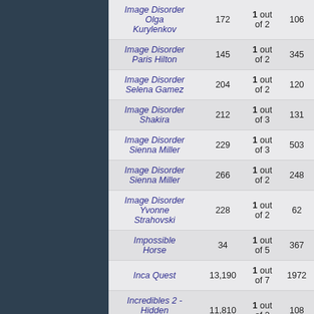| Game | Plays | Rank | Players | ... |
| --- | --- | --- | --- | --- |
| Image Disorder Olga Kurylenkov | 172 | 1 out of 2 | 106 |  |
| Image Disorder Paris Hilton | 145 | 1 out of 2 | 345 |  |
| Image Disorder Selena Gamez | 204 | 1 out of 2 | 120 |  |
| Image Disorder Shakira | 212 | 1 out of 3 | 131 |  |
| Image Disorder Sienna Miller | 229 | 1 out of 3 | 503 |  |
| Image Disorder Sienna Miller | 266 | 1 out of 2 | 248 |  |
| Image Disorder Yvonne Strahovski | 228 | 1 out of 2 | 62 |  |
| Impossible Horse | 34 | 1 out of 5 | 367 |  |
| Inca Quest | 13,190 | 1 out of 7 | 1972 |  |
| Incredibles 2 - Hidden Alphabets | 11,810 | 1 out of 2 | 108 |  |